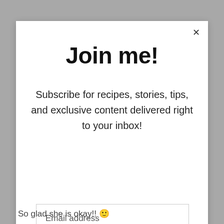Join me!
Subscribe for recipes, stories, tips, and exclusive content delivered right to your inbox!
Email address
Subscribe
So glad she is okay!! 🙂